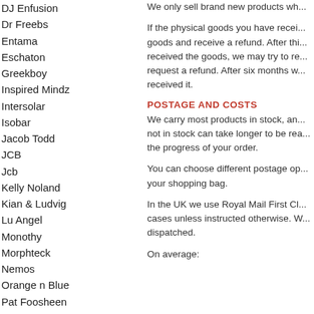DJ Enfusion
Dr Freebs
Entama
Eschaton
Greekboy
Inspired Mindz
Intersolar
Isobar
Jacob Todd
JCB
Jcb
Kelly Noland
Kian & Ludvig
Lu Angel
Monothy
Morphteck
Nemos
Orange n Blue
Pat Foosheen
We only sell brand new products wh...
If the physical goods you have recei... goods and receive a refund. After thi... received the goods, we may try to re... request a refund. After six months w... received it.
POSTAGE AND COSTS
We carry most products in stock, an... not in stock can take longer to be rea... the progress of your order.
You can choose different postage op... your shopping bag.
In the UK we use Royal Mail First Cl... cases unless instructed otherwise. W... dispatched.
On average: